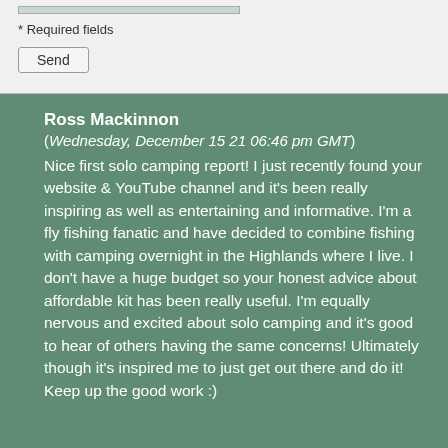* Required fields
Send
Ross Mackinnon
(Wednesday, December 15 21 06:46 pm GMT)
Nice first solo camping report! I just recently found your website & YouTube channel and it's been really inspiring as well as entertaining and informative. I'm a fly fishing fanatic and have decided to combine fishing with camping overnight in the Highlands where I live. I don't have a huge budget so your honest advice about affordable kit has been really useful. I'm equally nervous and excited about solo camping and it's good to hear of others having the same concerns! Ultimately though it's inspired me to just get out there and do it! Keep up the good work :)